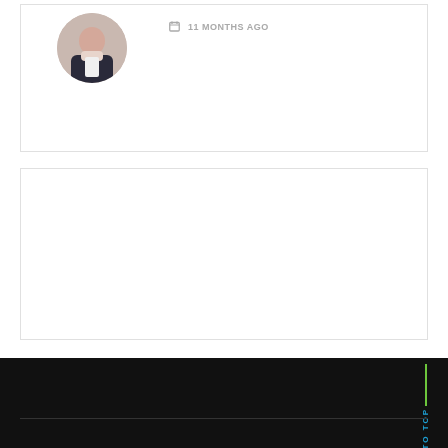[Figure (photo): Circular avatar photo of a person holding something white, with dark clothing]
11 MONTHS AGO
[Figure (other): Empty white card/box with border]
ALL ABOUT PETS!
BACK TO TOP